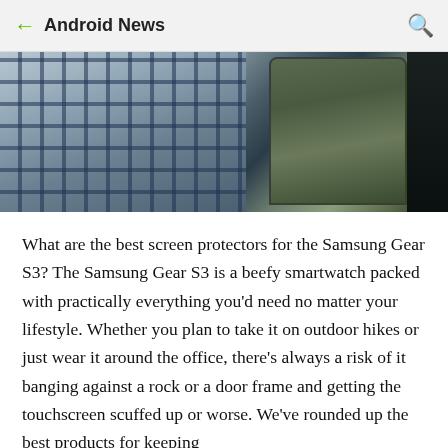← Android News 🔍
[Figure (photo): Close-up photo of a Samsung Gear S3 smartwatch with a plaid fabric band, resting against a dark background]
What are the best screen protectors for the Samsung Gear S3? The Samsung Gear S3 is a beefy smartwatch packed with practically everything you'd need no matter your lifestyle. Whether you plan to take it on outdoor hikes or just wear it around the office, there's always a risk of it banging against a rock or a door frame and getting the touchscreen scuffed up or worse. We've rounded up the best products for keeping